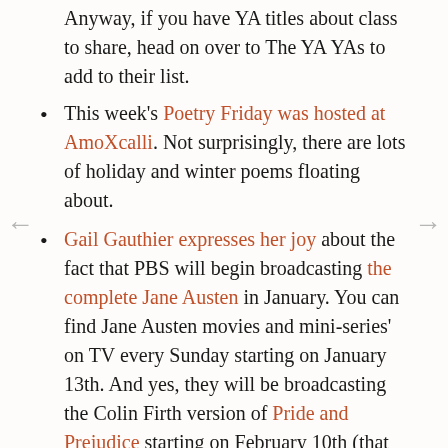Anyway, if you have YA titles about class to share, head on over to The YA YAs to add to their list.
This week's Poetry Friday was hosted at AmoXcalli. Not surprisingly, there are lots of holiday and winter poems floating about.
Gail Gauthier expresses her joy about the fact that PBS will begin broadcasting the complete Jane Austen in January. You can find Jane Austen movies and mini-series' on TV every Sunday starting on January 13th. And yes, they will be broadcasting the Colin Firth version of Pride and Prejudice starting on February 10th (that one I recently purchased, so I have less need of it on TV, but I would still bet that if I start watching, I won't be able to turn